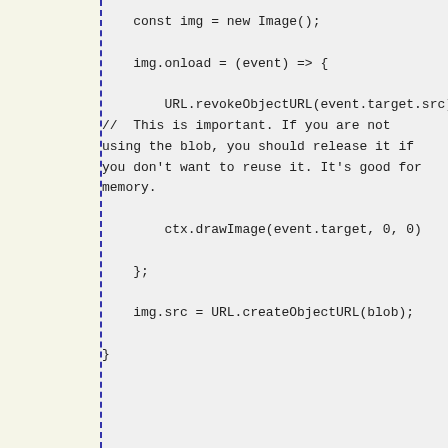const img = new Image();

    img.onload = (event) => {

        URL.revokeObjectURL(event.target.src)
//  This is important. If you are not
using the blob, you should release it if
you don't want to reuse it. It's good for
memory.

        ctx.drawImage(event.target, 0, 0)

    };

    img.src = URL.createObjectURL(blob);

}